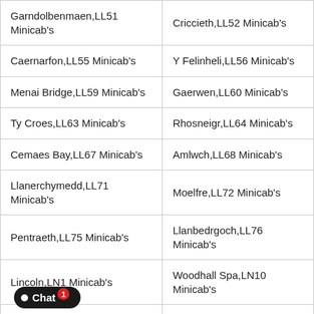| Garndolbenmaen,LL51 Minicab's | Criccieth,LL52 Minicab's |
| Caernarfon,LL55 Minicab's | Y Felinheli,LL56 Minicab's |
| Menai Bridge,LL59 Minicab's | Gaerwen,LL60 Minicab's |
| Ty Croes,LL63 Minicab's | Rhosneigr,LL64 Minicab's |
| Cemaes Bay,LL67 Minicab's | Amlwch,LL68 Minicab's |
| Llanerchymedd,LL71 Minicab's | Moelfre,LL72 Minicab's |
| Pentraeth,LL75 Minicab's | Llanbedrgoch,LL76 Minicab's |
| Lincoln,LN1 Minicab's | Woodhall Spa,LN10 Minicab's |
| Alford,LN... Minicab's | Lincoln,LN2 Minicab's |
| Lincoln,LN... Minicab's | Lincoln,LN6 Minicab's |
| Horncastle,LN... Minicab's | Leeds,LS1 Minicab's |
| Leeds,LS12 Minicab's | Leeds,LS13 Minicab's |
| Leeds,LS16 Minicab's | Leeds,LS17 Minicab's |